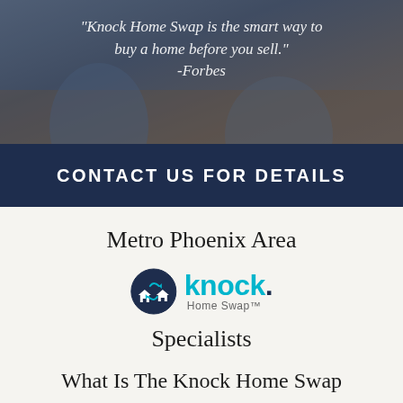[Figure (photo): Background photo of people sitting on a couch, with dark overlay]
"Knock Home Swap is the smart way to buy a home before you sell." -Forbes
CONTACT US FOR DETAILS
Metro Phoenix Area
[Figure (logo): Knock Home Swap logo with circular arrow icon and cyan/navy wordmark]
Specialists
What Is The Knock Home Swap